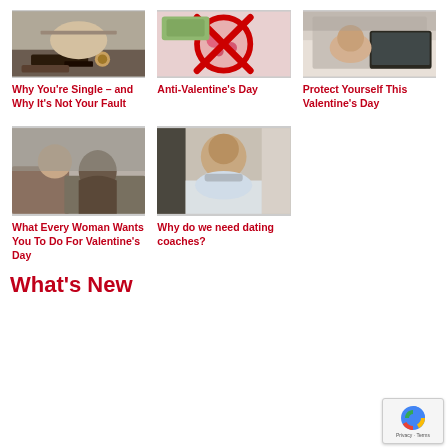[Figure (photo): Person at cafe/coffee shop, hands on table]
[Figure (photo): Anti-Valentine's Day image with red circle/slash over hearts]
[Figure (photo): Person lying down with laptop]
Why You’re Single – and Why It’s Not Your Fault
Anti-Valentine’s Day
Protect Yourself This Valentine’s Day
[Figure (photo): Couple embracing, man and woman close together]
[Figure (photo): Man in bathtub looking at camera]
What Every Woman Wants You To Do For Valentine’s Day
Why do we need dating coaches?
What's New